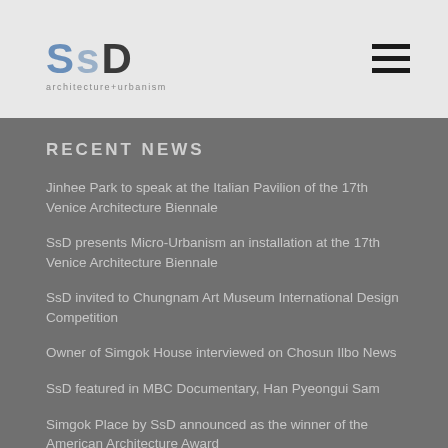SsD architecture+urbanism
RECENT NEWS
Jinhee Park to speak at the Italian Pavilion of the 17th Venice Architecture Biennale
SsD presents Micro-Urbanism an installation at the 17th Venice Architecture Biennale
SsD invited to Chungnam Art Museum International Design Competition
Owner of Simgok House interviewed on Chosun Ilbo News
SsD featured in MBC Documentary, Han Pyeongui Sam
Simgok Place by SsD announced as the winner of the American Architecture Award
Jinhee Park featured on Floornature, Speed & Sustainability